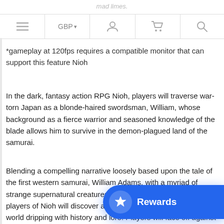mad limes
*gameplay at 120fps requires a compatible monitor that can support this feature Nioh
In the dark, fantasy action RPG Nioh, players will traverse war-torn Japan as a blonde-haired swordsman, William, whose background as a fierce warrior and seasoned knowledge of the blade allows him to survive in the demon-plagued land of the samurai.
Blending a compelling narrative loosely based upon the tale of the first western samurai, William Adams, with a myriad of strange supernatural creatures from Japanese folklore (Yokai), players of Nioh will discover a diverse and comprehensive world dripping with history and lore. Players will face off against other samurai in epic sword battles and intense, m... engagements offering a level of difficulty tha... the most hardened samurai's skills, patience, and strategy. Nioh